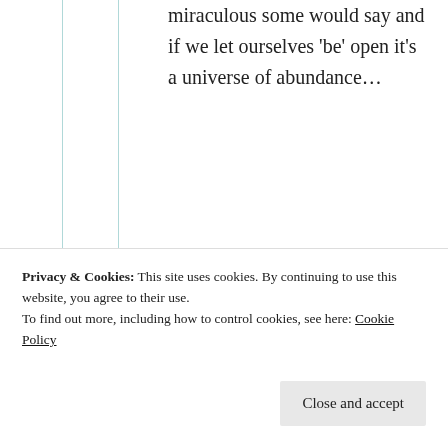miraculous some would say and if we let ourselves 'be' open it's a universe of abundance…
★ Liked by 3 people
Suma Reddy
24th Aug 2021 at 9:25 pm
Privacy & Cookies: This site uses cookies. By continuing to use this website, you agree to their use.
To find out more, including how to control cookies, see here: Cookie Policy
Close and accept
thank you for sharing